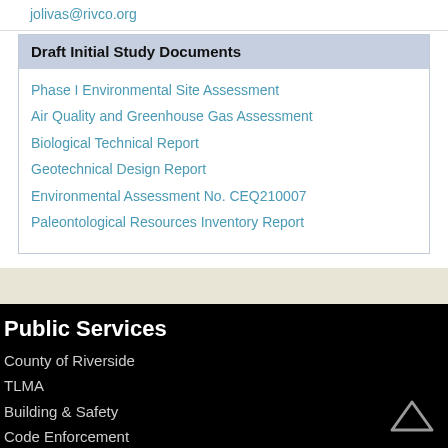jolivas@rivco.org
Draft Initial Study Documents
Phase I Environmental Site Assessment
Air Quality and Greenhouse Gas Assessment
Biological Technical Report
Geotechnical Design Report
Environmental Assessment No. CEQ210007
Paleontological Resources Inventory Report
Public Services
County of Riverside
TLMA
Building & Safety
Code Enforcement
Transportation
Environmental Programs